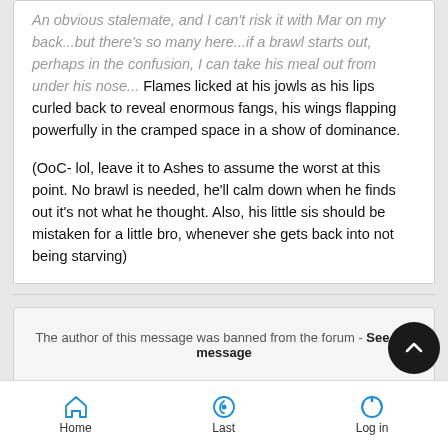An obvious stalemate, and I can't risk it with Mar on my back...but there's so many here...if a brawl starts out, perhaps in the confusion, I can take his meal out from under his nose... Flames licked at his jowls as his lips curled back to reveal enormous fangs, his wings flapping powerfully in the cramped space in a show of dominance.
(OoC- lol, leave it to Ashes to assume the worst at this point. No brawl is needed, he'll calm down when he finds out it's not what he thought. Also, his little sis should be mistaken for a little bro, whenever she gets back into not being starving)
The author of this message was banned from the forum - See the message
Home  Last  Log in